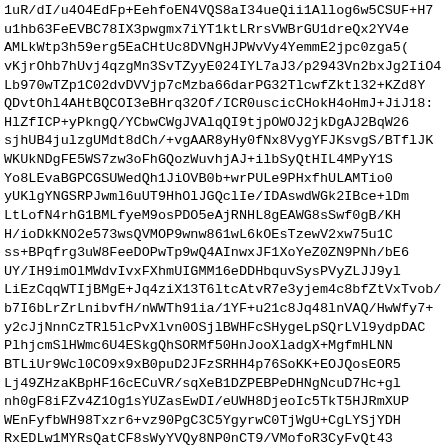1uR/dI/u4O4EdFp+EehfoEN4VQS8aI34ueQii1Allog6w5CSUF+H7u1hb63FeEVBC78IX3pwgmx7iYT1ktLRrsVWBrGU1dreQx2YV4eAMLkWtp3h59erg5EaCHtUc8DVNgHJPWvVy4YemmE2jpc0zga56vKjrOhb7hUvj4qzgMn3SvTZyyE024IYL7aJ3/p2943Vn2bxJg2IiO4Lb970wTZp1C02dvDVVjp7cMzba66darPG32TlcwfZktl32+KZd8YQDvtOhl4AHtBQCOI3eBHrq32Of/ICR0uscicCHokH4oHmJ+JiJ18HlZfICP+yPkngQ/YCbwCWgJVAlqQI9tjpOWOJ2jkDgAJ2BqW26sjhUB4julzgUMdt8dCh/+vgAAR8yHy0fNx8VygYFJKsvgS/BTflJKWKUkNDgFE5WS7zw3oFhGQozWuvhjAJ+ilbSyQtHIL4MPyY1SYo8LEvaBGPCGSUWedQh1JiOVB0b+wrPULe9PHxfhULAMTio0yUKlgYNGSRPJwml6uUT9HhOlJGQclIe/IDAswdWGk2IBce+lDmLtLofN4rhG1BMLfyeM9osPDO5eAjRNHL8gEAWG8sSwf0gB/KHH/ioDkKNO2e573wsQVMOP9wnw861wL6kOEsTzewV2xw75u1Css+BPqfrg3uW8FeeDOPwTp9wQ4AInwxJF1XoYeZ0ZN9PNh/bE6UY/IH9imOlMWdvIvxFXhmUIGMM16eDDHbquvSysPVyZLJJ9ylLiEzCqqWTIjBMgE+Jq4ziX13T6ltcAtvR7e3yjem4c8bfZtVxTvob/b7I6bLrZrLnibvfH/nWWTh91ia/1YF+u21c8Jq48lnVAQ/HwWfy7+y2cJjNnnCzTRl5lcPvXlvn0OSjlBWHFcSHygeLpSQrLVl9ydpDACPlhjcmSlHWmc6U4ESkgQhSORMf50HnJooXladgX+MgfmHLNNBTLiUr9Wcl0CO9x9xB0puD2JFzSRHH4p76SoKK+EOJQosEOR5Lj49ZHzaKBpHF16cECuVR/sqXeB1DZPEBPeDHNgNcuD7Hc+glnh0gF8iFZv4Z1Og1sYUZasEwDI/eUWH8DjeoIc5TkT5HJRmXUPWEnFyfbWH98Txzr6+vz90PgC3C5YgyrwC0TjWgU+CgLYSjYDHRxEDLw1MYRsQatCF8sWyYVQy8NP0nCT9/VMofoR3CyFvQt43 8LD6AJ9gBArax8BDiBAoEMNJo0ihhtgGKLE5C4Mc277wsOW2l